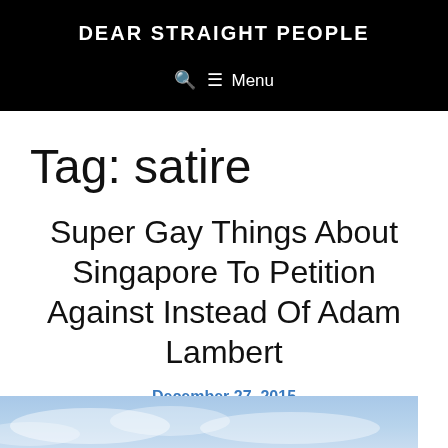DEAR STRAIGHT PEOPLE
🔍 ≡ Menu
Tag: satire
Super Gay Things About Singapore To Petition Against Instead Of Adam Lambert
December 27, 2015
[Figure (photo): Partial image preview showing blue sky with clouds at the bottom of the page]